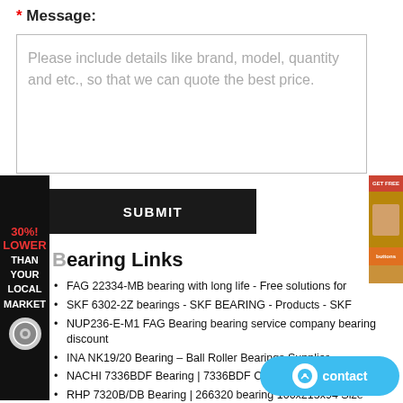* Message:
Please include details like brand, model, quantity and etc., so that we can quote the best price.
SUBMIT
Bearing Links
FAG 22334-MB bearing with long life - Free solutions for
SKF 6302-2Z bearings - SKF BEARING - Products - SKF
NUP236-E-M1 FAG Bearing bearing service company bearing discount
INA NK19/20 Bearing – Ball Roller Bearings Supplier
NACHI 7336BDF Bearing | 7336BDF Cameroon | KOYO Bearing
RHP 7320B/DB Bearing | 266320 bearing 100x215x94 Size
NUP308EW - NSK Cylindrical Roller - Quality Bearings
NACHI 7308C/DF bearing 40x90x46 336308 | Angular Contact
BEAS015045-2RS SKF Bearing bearing size speci here
SKF7034ACE/HCB4AL bearing 120x180x28 Delivery time: